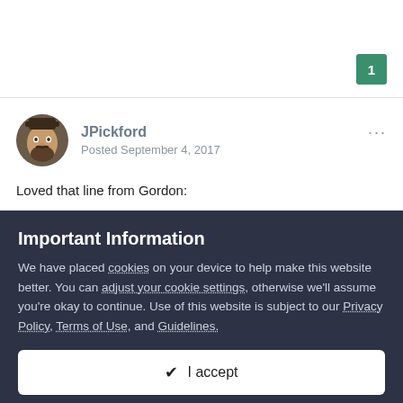1
[Figure (photo): User avatar for JPickford — person with beard and hat]
JPickford
Posted September 4, 2017
Loved that line from Gordon:
Important Information
We have placed cookies on your device to help make this website better. You can adjust your cookie settings, otherwise we'll assume you're okay to continue. Use of this website is subject to our Privacy Policy, Terms of Use, and Guidelines.
✔  I accept